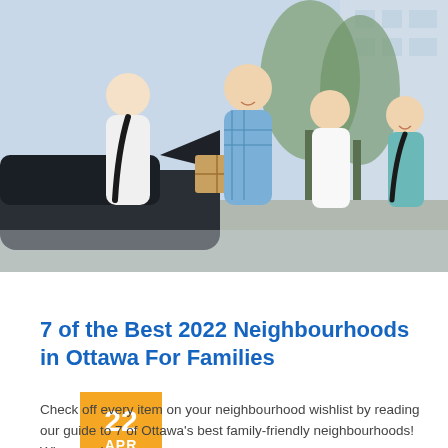[Figure (photo): A family of four — a mother, father, son, and daughter — unloading moving boxes from a car in a residential driveway. The father is smiling and holding a cardboard box. The daughter has a braid and is wearing a teal top.]
22 APR 2021
7 of the Best 2022 Neighbourhoods in Ottawa For Families
Check off every item on your neighbourhood wishlist by reading our guide to 7 of Ottawa's best family-friendly neighbourhoods! When you're